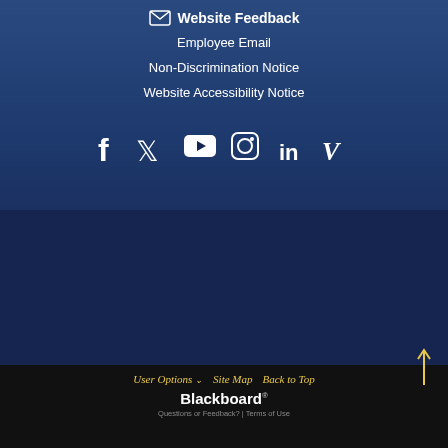Website Feedback
Employee Email
Non-Discrimination Notice
Website Accessibility Notice
[Figure (infographic): Social media icons: Facebook, Twitter, YouTube, Instagram, LinkedIn, Vimeo]
User Options  Site Map  Back to Top
Blackboard
Questions or Feedback? | Terms of Use